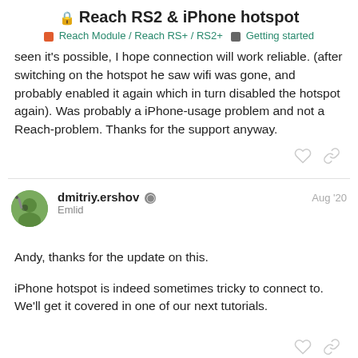Reach RS2 & iPhone hotspot
Reach Module / Reach RS+ / RS2+   Getting started
seen it's possible, I hope connection will work reliable. (after switching on the hotspot he saw wifi was gone, and probably enabled it again which in turn disabled the hotspot again). Was probably a iPhone-usage problem and not a Reach-problem. Thanks for the support anyway.
dmitriy.ershov  Emlid  Aug '20
Andy, thanks for the update on this.
iPhone hotspot is indeed sometimes tricky to connect to. We'll get it covered in one of our next tutorials.